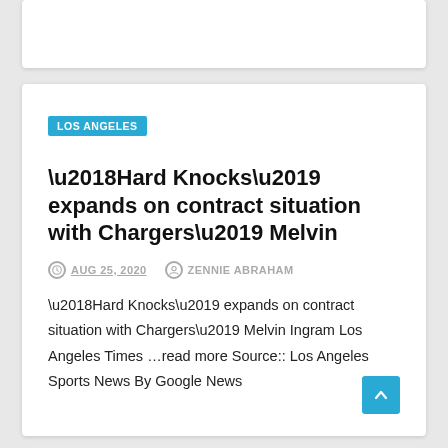LOS ANGELES
‘Hard Knocks’ expands on contract situation with Chargers’ Melvin
AUG 25, 2020   ZENNIE ABRAHAM
‘Hard Knocks’ expands on contract situation with Chargers’ Melvin Ingram Los Angeles Times …read more Source:: Los Angeles Sports News By Google News